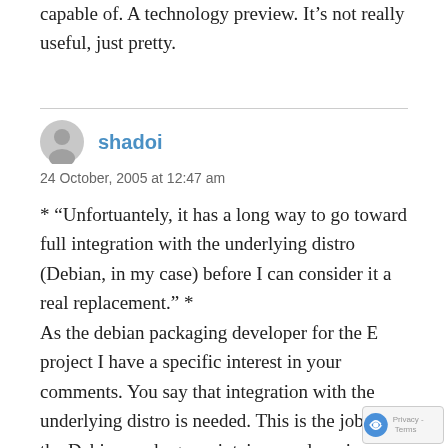capable of. A technology preview. It’s not really useful, just pretty.
shadoi
24 October, 2005 at 12:47 am
* “Unfortuantely, it has a long way to go toward full integration with the underlying distro (Debian, in my case) before I can consider it a real replacement.” * As the debian packaging developer for the E project I have a specific interest in your comments. You say that integration with the underlying distro is needed. This is the job of the Debian package maintainer, and so since e17 is not yet in Debian official, that would be